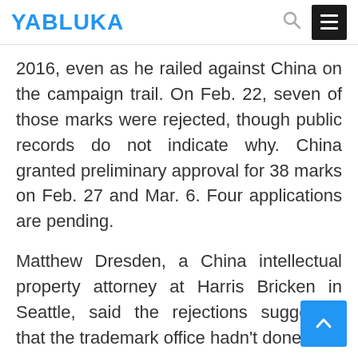YABLUKA
2016, even as he railed against China on the campaign trail. On Feb. 22, seven of those marks were rejected, though public records do not indicate why. China granted preliminary approval for 38 marks on Feb. 27 and Mar. 6. Four applications are pending.
Matthew Dresden, a China intellectual property attorney at Harris Bricken in Seattle, said the rejections suggested that the trademark office hadn't done